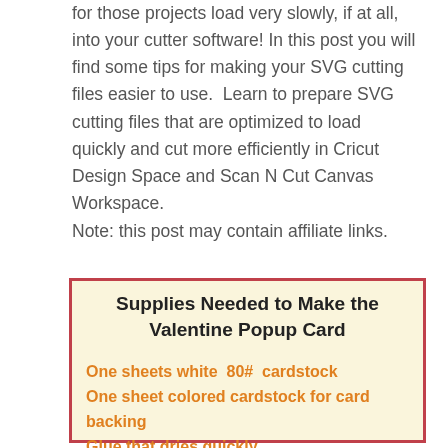for those projects load very slowly, if at all, into your cutter software! In this post you will find some tips for making your SVG cutting files easier to use.  Learn to prepare SVG cutting files that are optimized to load quickly and cut more efficiently in Cricut Design Space and Scan N Cut Canvas Workspace.
Note: this post may contain affiliate links.
Supplies Needed to Make the Valentine Popup Card
One sheets white  80#  cardstock
One sheet colored cardstock for card backing
Glue that dries quickly.
Cutting File from the Free Resource Library